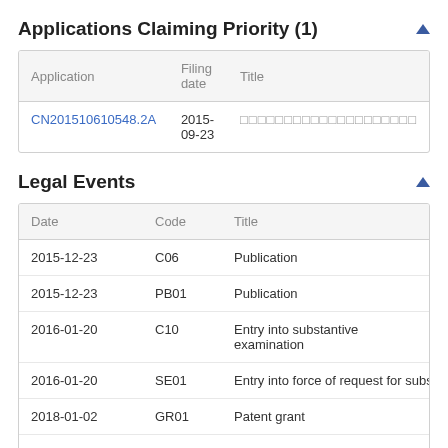Applications Claiming Priority (1)
| Application | Filing date | Title |
| --- | --- | --- |
| CN201510610548.2A | 2015-09-23 | □□□□□□□□□□□□□□□□□□□□ |
Legal Events
| Date | Code | Title |
| --- | --- | --- |
| 2015-12-23 | C06 | Publication |
| 2015-12-23 | PB01 | Publication |
| 2016-01-20 | C10 | Entry into substantive examination |
| 2016-01-20 | SE01 | Entry into force of request for substantive exa |
| 2018-01-02 | GR01 | Patent grant |
| 2018-01-02 | GR01 | Patent grant |
| 2021-09-21 | TR01 | Transfer of patent right |